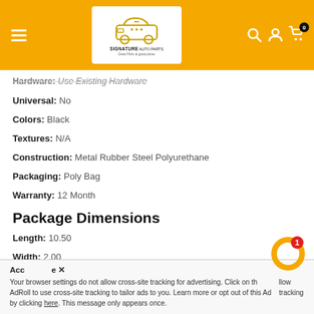[Figure (logo): Signature Auto Parts logo with car parts icon on yellow header bar]
Hardware: Use Existing Hardware
Universal: No
Colors: Black
Textures: N/A
Construction: Metal Rubber Steel Polyurethane
Packaging: Poly Bag
Warranty: 12 Month
Package Dimensions
Length: 10.50
Width: 2.00
Your browser settings do not allow cross-site tracking for advertising. Click on the X to allow AdRoll to use cross-site tracking to tailor ads to you. Learn more or opt out of this AdRoll tracking by clicking here. This message only appears once.